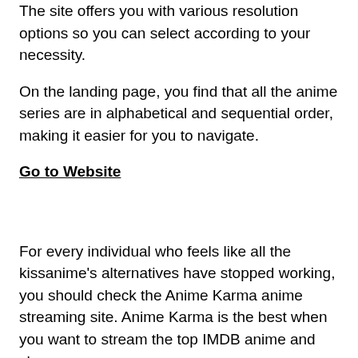The site offers you with various resolution options so you can select according to your necessity.
On the landing page, you find that all the anime series are in alphabetical and sequential order, making it easier for you to navigate.
Go to Website
For every individual who feels like all the kissanime's alternatives have stopped working, you should check the Anime Karma anime streaming site. Anime Karma is the best when you want to stream the top IMDB anime and shows.